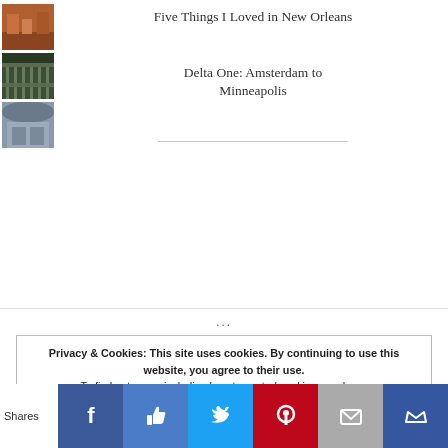[Figure (photo): Small thumbnail image - New Orleans related (orange/brown tones)]
[Figure (photo): Small thumbnail image - balcony/iron railing (green tones)]
Five Things I Loved in New Orleans
[Figure (photo): Small thumbnail image - airplane interior (gray tones)]
Delta One: Amsterdam to Minneapolis
...
Privacy & Cookies: This site uses cookies. By continuing to use this website, you agree to their use. To find out more, including how to control cookies, see here: Cookie Policy
Shares | Facebook | Like | Twitter | Pinterest | Mail | Crown